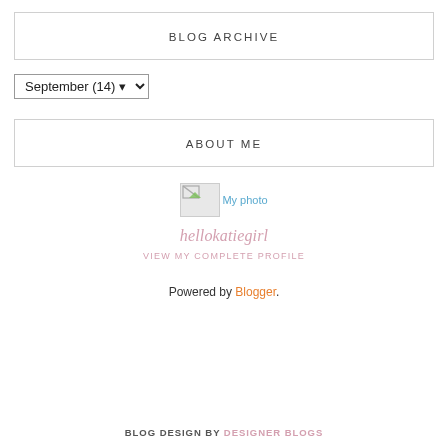BLOG ARCHIVE
September (14)
ABOUT ME
[Figure (photo): My photo placeholder image with broken image icon and 'My photo' label text]
hellokatiegirl
VIEW MY COMPLETE PROFILE
Powered by Blogger.
BLOG DESIGN BY DESIGNER BLOGS